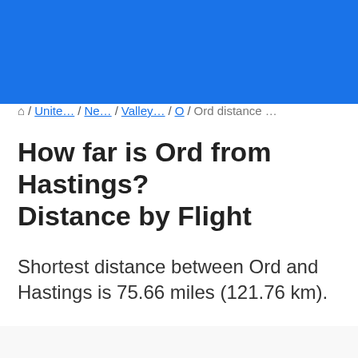blue header bar
⌂ / Unite... / Ne... / Valley... / O / Ord distance ...
How far is Ord from Hastings? Distance by Flight
Shortest distance between Ord and Hastings is 75.66 miles (121.76 km).
Flight distance from Ord, NE to Hastings, NE is 75.66